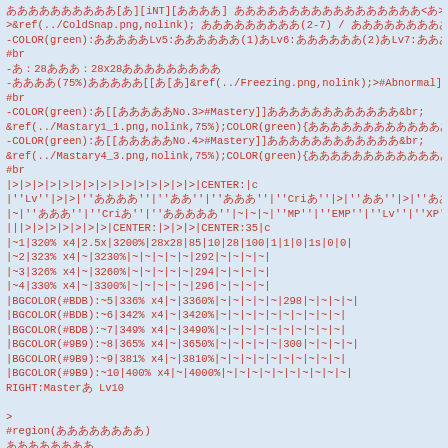Wiki markup / source code block containing table and color formatting syntax for a game wiki page